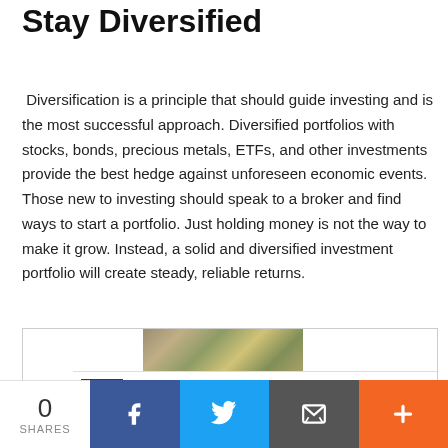Stay Diversified
Diversification is a principle that should guide investing and is the most successful approach. Diversified portfolios with stocks, bonds, precious metals, ETFs, and other investments provide the best hedge against unforeseen economic events. Those new to investing should speak to a broker and find ways to start a portfolio. Just holding money is not the way to make it grow. Instead, a solid and diversified investment portfolio will create steady, reliable returns.
[Figure (photo): Partial view of an advertisement box with a nature/forest photo at top and a banner reading 'We're Open and Here to Help' with a blue rectangle and an upward arrow]
[Figure (infographic): Social share bar at bottom with share count 0, Facebook button, Twitter button, email/envelope button, and a plus/more button]